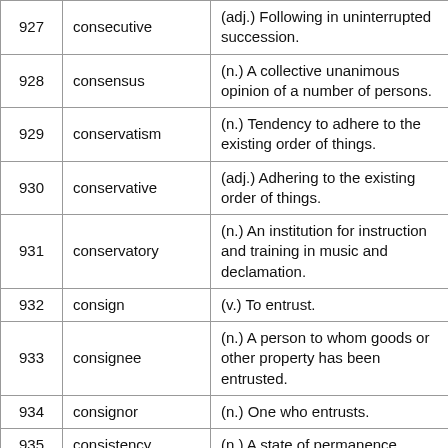| # | Word | Definition |
| --- | --- | --- |
| 927 | consecutive | (adj.) Following in uninterrupted succession. |
| 928 | consensus | (n.) A collective unanimous opinion of a number of persons. |
| 929 | conservatism | (n.) Tendency to adhere to the existing order of things. |
| 930 | conservative | (adj.) Adhering to the existing order of things. |
| 931 | conservatory | (n.) An institution for instruction and training in music and declamation. |
| 932 | consign | (v.) To entrust. |
| 933 | consignee | (n.) A person to whom goods or other property has been entrusted. |
| 934 | consignor | (n.) One who entrusts. |
| 935 | consistency | (n.) A state of permanence. |
| 936 | console | (v.) To comfort. |
| 937 | consolidate | (v.) To combine into one body or system. |
| 938 | consonance | (n.) The state or quality of being in accord with. |